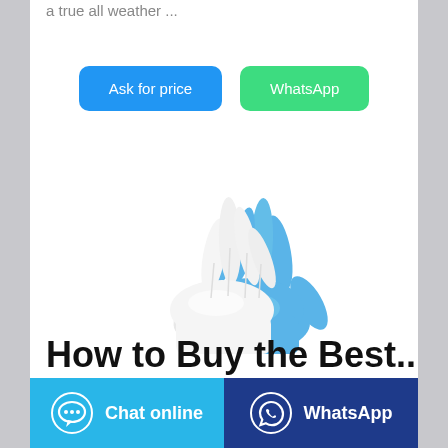a true all weather ...
[Figure (other): Two medical gloves, one white and one blue, overlapping, displayed as a 3D illustration]
How to Buy the Best...
Chat online | WhatsApp